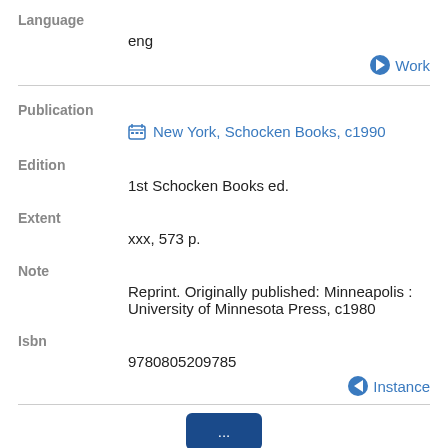Language
eng
Work
Publication
New York, Schocken Books, c1990
Edition
1st Schocken Books ed.
Extent
xxx, 573 p.
Note
Reprint. Originally published: Minneapolis : University of Minnesota Press, c1980
Isbn
9780805209785
Instance